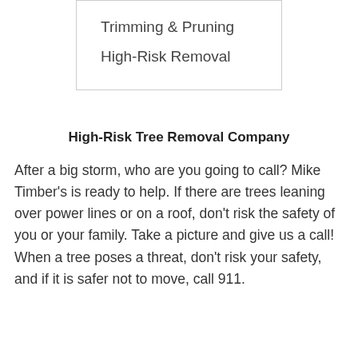Trimming & Pruning
High-Risk Removal
High-Risk Tree Removal Company
After a big storm, who are you going to call? Mike Timber’s is ready to help. If there are trees leaning over power lines or on a roof, don’t risk the safety of you or your family. Take a picture and give us a call! When a tree poses a threat, don’t risk your safety, and if it is safer not to move, call 911.